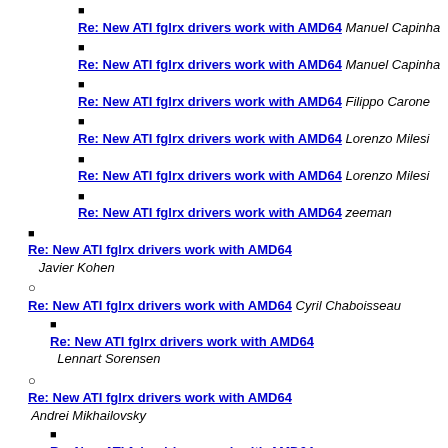Re: New ATI fglrx drivers work with AMD64 Manuel Capinha
Re: New ATI fglrx drivers work with AMD64 Manuel Capinha
Re: New ATI fglrx drivers work with AMD64 Filippo Carone
Re: New ATI fglrx drivers work with AMD64 Lorenzo Milesi
Re: New ATI fglrx drivers work with AMD64 Lorenzo Milesi
Re: New ATI fglrx drivers work with AMD64 zeeman
Re: New ATI fglrx drivers work with AMD64 Javier Kohen
Re: New ATI fglrx drivers work with AMD64 Cyril Chaboisseau
Re: New ATI fglrx drivers work with AMD64 Lennart Sorensen
Re: New ATI fglrx drivers work with AMD64 Andrei Mikhailovsky
Re: New ATI fglrx drivers work with AMD64 Peter Nelson
Re: New ATI fglrx drivers work with AMD64 Andrei Mikhailovsky
Re: New ATI fglrx drivers work with AMD64 Nick